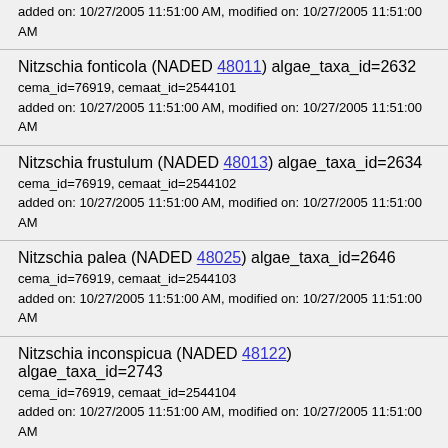added on: 10/27/2005 11:51:00 AM, modified on: 10/27/2005 11:51:00 AM
Nitzschia fonticola (NADED 48011) algae_taxa_id=2632
cema_id=76919, cemaat_id=2544101
added on: 10/27/2005 11:51:00 AM, modified on: 10/27/2005 11:51:00 AM
Nitzschia frustulum (NADED 48013) algae_taxa_id=2634
cema_id=76919, cemaat_id=2544102
added on: 10/27/2005 11:51:00 AM, modified on: 10/27/2005 11:51:00 AM
Nitzschia palea (NADED 48025) algae_taxa_id=2646
cema_id=76919, cemaat_id=2544103
added on: 10/27/2005 11:51:00 AM, modified on: 10/27/2005 11:51:00 AM
Nitzschia inconspicua (NADED 48122) algae_taxa_id=2743
cema_id=76919, cemaat_id=2544104
added on: 10/27/2005 11:51:00 AM, modified on: 10/27/2005 11:51:00 AM
Nitzschia pusilla (NADED 48123) algae_taxa_id=2744
cema_id=76919, cemaat_id=2544105